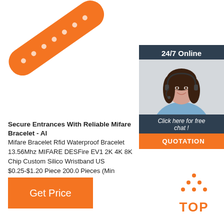[Figure (photo): Orange silicone RFID wristband/bracelet shown diagonally from top-left]
[Figure (infographic): 24/7 Online chat widget with photo of female customer service representative wearing headset, 'Click here for free chat!' text, and QUOTATION button]
Secure Entrances With Reliable Mifare Bracelet - Al
Mifare Bracelet Rfid Waterproof Bracelet 13.56Mhz MIFARE DESFire EV1 2K 4K 8K Chip Custom Silicone Wristband US $0.25-$1.20 Piece 200.0 Pieces (Min
Get Price
[Figure (logo): TOP logo with orange dots arranged in triangle above the word TOP in orange]